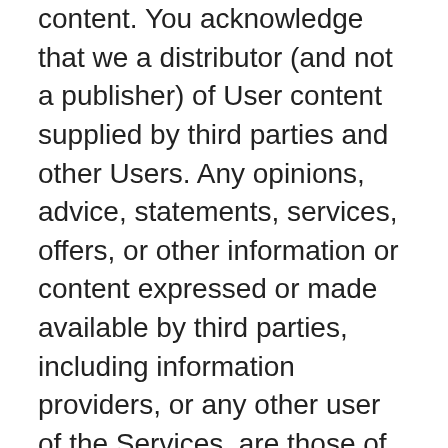content. You acknowledge that we a distributor (and not a publisher) of User content supplied by third parties and other Users. Any opinions, advice, statements, services, offers, or other information or content expressed or made available by third parties, including information providers, or any other user of the Services, are those of the respective author(s) or publisher(s) and not of CaptainU. Neither CaptainU nor any third-party provider of information guarantees the accuracy, completeness, or usefulness of any content, nor its merchantability or fitness for any particular purpose. You understand and agree that you may be exposed to User